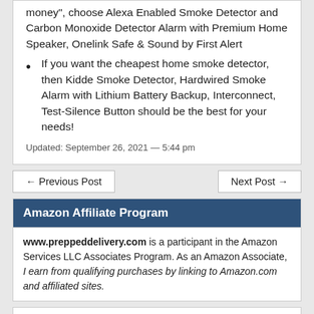money", choose Alexa Enabled Smoke Detector and Carbon Monoxide Detector Alarm with Premium Home Speaker, Onelink Safe & Sound by First Alert
If you want the cheapest home smoke detector, then Kidde Smoke Detector, Hardwired Smoke Alarm with Lithium Battery Backup, Interconnect, Test-Silence Button should be the best for your needs!
Updated: September 26, 2021 — 5:44 pm
← Previous Post
Next Post →
Amazon Affiliate Program
www.preppeddelivery.com is a participant in the Amazon Services LLC Associates Program. As an Amazon Associate, I earn from qualifying purchases by linking to Amazon.com and affiliated sites.
Search …